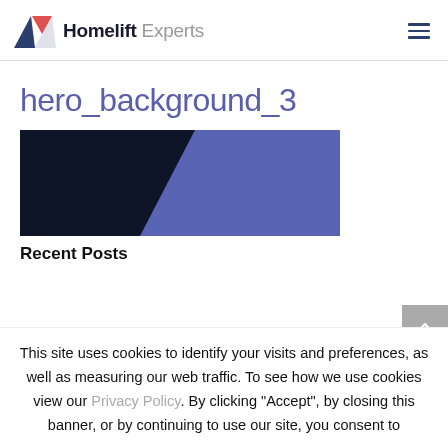Homelift Experts
hero_background_3
[Figure (illustration): Dark navy and medium blue diagonal geometric shapes forming an abstract background image]
Recent Posts
This site uses cookies to identify your visits and preferences, as well as measuring our web traffic. To see how we use cookies view our Privacy Policy. By clicking "Accept", by closing this banner, or by continuing to use our site, you consent to